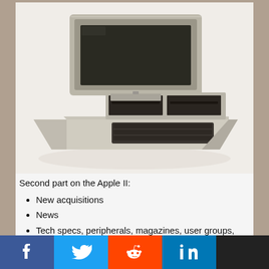[Figure (photo): Vintage Apple II computer with monitor on top and keyboard at base, beige/cream color, photographed against white background]
Second part on the Apple II:
New acquisitions
News
Tech specs, peripherals, magazines, user groups, shows
Special guest host Carrington Vanston!!
...in this episode:
[Figure (infographic): Social media sharing bar with Facebook, Twitter, Reddit, and LinkedIn icons]